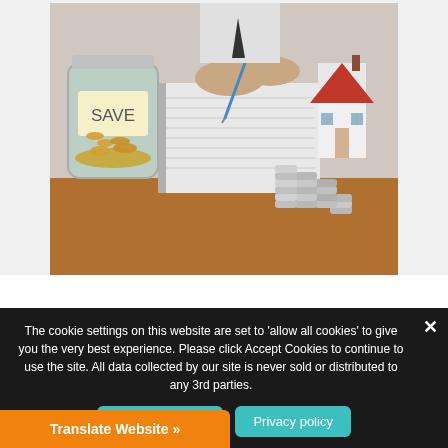[Figure (photo): Photo of a glass jar labeled 'SAVE' filled with coins, stacks of coins increasing in height, a small model house with a red roof, and a person writing in a notepad in the background on a wooden table.]
The cookie settings on this website are set to 'allow all cookies' to give you the very best experience. Please click Accept Cookies to continue to use the site. All data collected by our site is never sold or distributed to any 3rd parties.
Accept Cookies
Privacy policy
Translate Website »